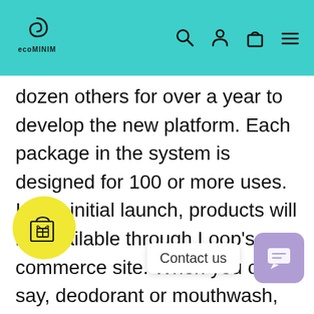ecoMINIM logo with navigation icons
dozen others for over a year to develop the new platform. Each package in the system is designed for 100 or more uses. In the initial launch, products will be available through Loop’s e-commerce site. When you order, say, deodorant or mouthwash, you’ll pay a deposit for the bottle. The order will show in a reusable tote–designed by engineers at UPS to repeated journeys–instead of a
[Figure (illustration): Yellow circular gift/shopping bag button overlay]
Contact us
[Figure (illustration): Purple chat button in bottom right corner]